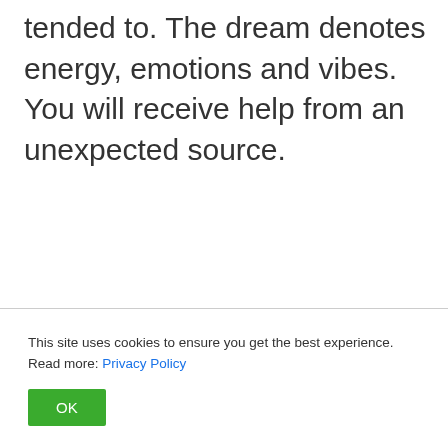tended to. The dream denotes energy, emotions and vibes. You will receive help from an unexpected source.
This site uses cookies to ensure you get the best experience. Read more: Privacy Policy
OK